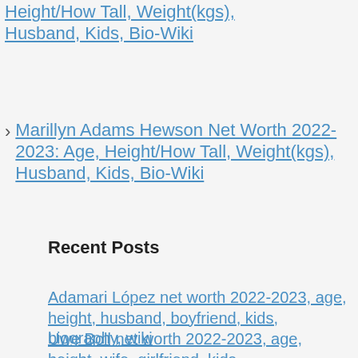Height/How Tall, Weight(kgs), Husband, Kids, Bio-Wiki
Marillyn Adams Hewson Net Worth 2022-2023: Age, Height/How Tall, Weight(kgs), Husband, Kids, Bio-Wiki
Recent Posts
Adamari López net worth 2022-2023, age, height, husband, boyfriend, kids, biography, wiki
Uwe Boll net worth 2022-2023, age, height, wife, girlfriend, kids,